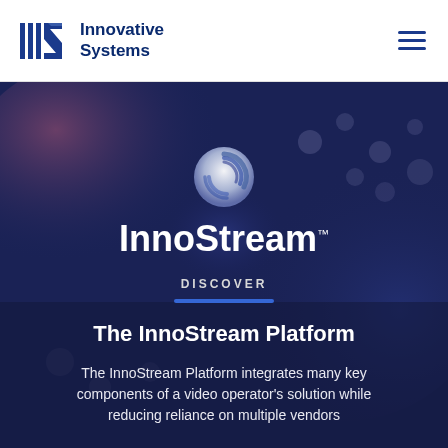Innovative Systems
[Figure (logo): InnoStream logo — swirling white circular icon above the wordmark 'InnoStream' with trademark symbol, displayed over a dark blue/purple hero background image of a keyboard]
DISCOVER
The InnoStream Platform
The InnoStream Platform integrates many key components of a video operator's solution while reducing reliance on multiple vendors